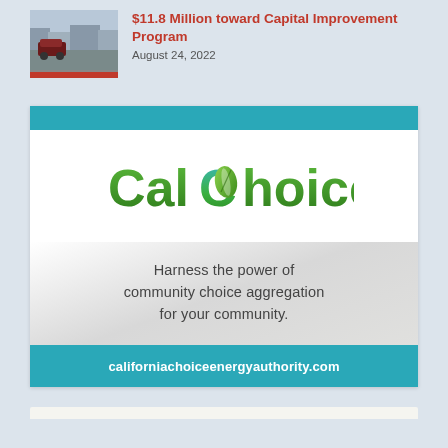[Figure (photo): Thumbnail photo of a street scene with a car parked, with a red bar at the bottom]
$11.8 Million toward Capital Improvement Program
August 24, 2022
[Figure (infographic): CalChoice advertisement banner. Teal top bar, CalChoice logo in green gradient, slogan 'Harness the power of community choice aggregation for your community.', teal bottom bar with URL californiachoiceenergyauthority.com]